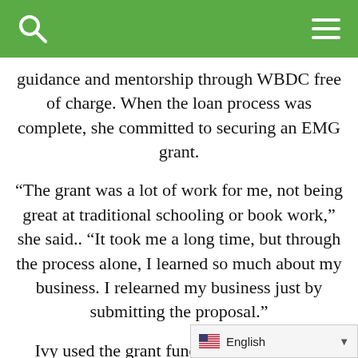guidance and mentorship through WBDC free of charge. When the loan process was complete, she committed to securing an EMG grant.
“The grant was a lot of work for me, not being great at traditional schooling or book work,” she said.. “It took me a long time, but through the process alone, I learned so much about my business. I relearned my business just by submitting the proposal.”
Ivy used the grant funds to purchase new equipment, including a three-door reach-in freezer for the front-of-house and a char broiler for